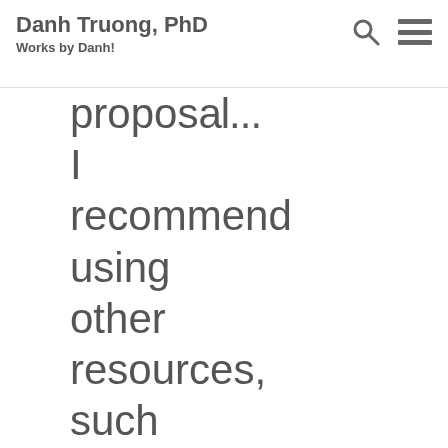Danh Truong, PhD
Works by Danh!
proposal... I recommend using other resources, such as other graduate students, collaborators, and